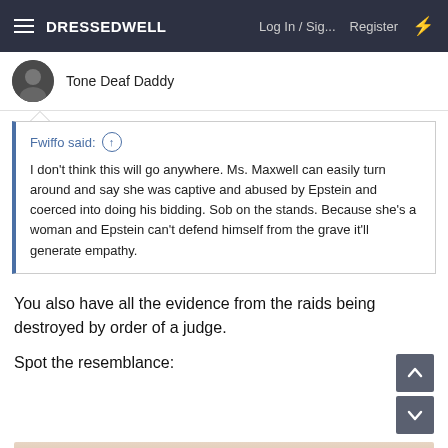DRESSEDWELL  Log In / Sig...  Register
Tone Deaf Daddy
Fwiffo said: ↑

I don't think this will go anywhere. Ms. Maxwell can easily turn around and say she was captive and abused by Epstein and coerced into doing his bidding. Sob on the stands. Because she's a woman and Epstein can't defend himself from the grave it'll generate empathy.
You also have all the evidence from the raids being destroyed by order of a judge.
Spot the resemblance:
[Figure (photo): Partial view of a person's head (dark hair) against a light beige/pink background, cropped at bottom of page.]